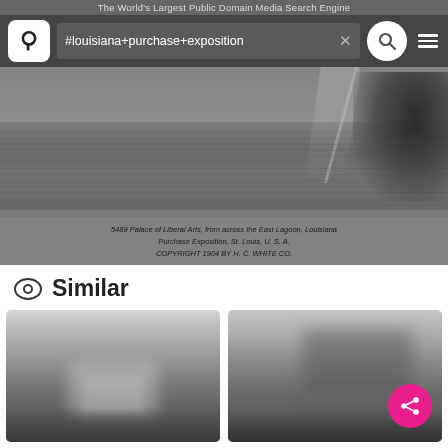The World's Largest Public Domain Media Search Engine
#louisiana+purchase+exposition  ×
[Figure (photo): Black and white historical photograph of the Palace of Liberal Arts viewed from across the East Lagoon at the Louisiana Purchase Exposition, St. Louis, U.S.A. Copyright 1904 by H. C. White Co.]
5489 Palace of Liberal Arts, from across the East Lagoon, Louisiana Purchase Exposition, St. Louis, U. S. A.
COPYRIGHT 1904 BY H. C. WHITE CO.
Similar
[Figure (photo): Blurry black and white thumbnail photograph of a historic building, likely from the Louisiana Purchase Exposition.]
[Figure (photo): Blurry black and white thumbnail photograph of a historic building, likely from the Louisiana Purchase Exposition.]